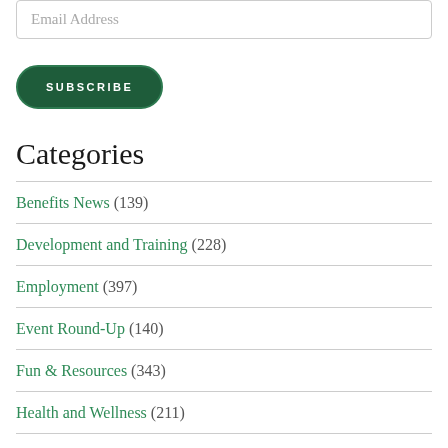Email Address
SUBSCRIBE
Categories
Benefits News (139)
Development and Training (228)
Employment (397)
Event Round-Up (140)
Fun & Resources (343)
Health and Wellness (211)
Mailroom Questions (33)
News Flash (???)